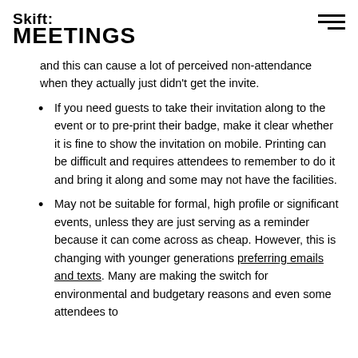Skift MEETINGS
and this can cause a lot of perceived non-attendance when they actually just didn't get the invite.
If you need guests to take their invitation along to the event or to pre-print their badge, make it clear whether it is fine to show the invitation on mobile. Printing can be difficult and requires attendees to remember to do it and bring it along and some may not have the facilities.
May not be suitable for formal, high profile or significant events, unless they are just serving as a reminder because it can come across as cheap. However, this is changing with younger generations preferring emails and texts. Many are making the switch for environmental and budgetary reasons and even some attendees to